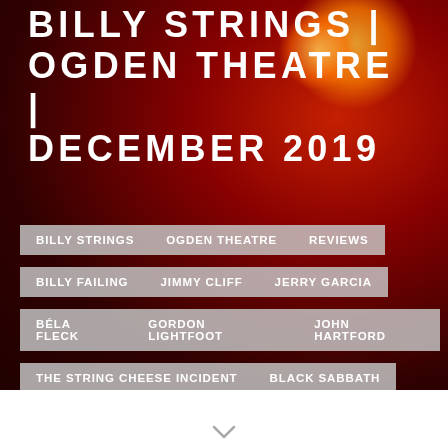BILLY STRINGS | OGDEN THEATRE | DECEMBER 2019
BILLY STRINGS   OGDEN THEATRE   REVIEWS
BILLY FAILING   JIMMY CLIFF   JERRY GARCIA
BÉLA FLECK   GORDON LIGHTFOOT   JOHN HARTFORD
THE STRING CHEESE INCIDENT   BLACK SABBATH
BILL MONROE   JESSE MCREYNOLDS
JACKSON BROWNE   TONY RICE   RALPH STANLEY